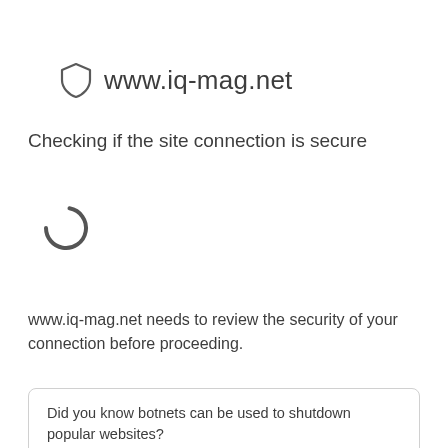www.iq-mag.net
Checking if the site connection is secure
[Figure (other): Loading spinner icon — partial arc circle indicating loading/checking in progress]
www.iq-mag.net needs to review the security of your connection before proceeding.
Did you know botnets can be used to shutdown popular websites?